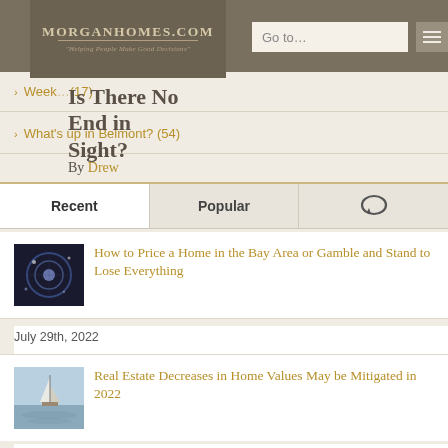MorganHomes.com — "Helping People Make Good Decisions"
Is There No End in Sight?
By Drew
> Weekl… (17)
> What's up in Belmont? (54)
Recent | Popular | [comments icon]
How to Price a Home in the Bay Area or Gamble and Stand to Lose Everything
July 29th, 2022
Real Estate Decreases in Home Values May be Mitigated in 2022
July 28th, 2022